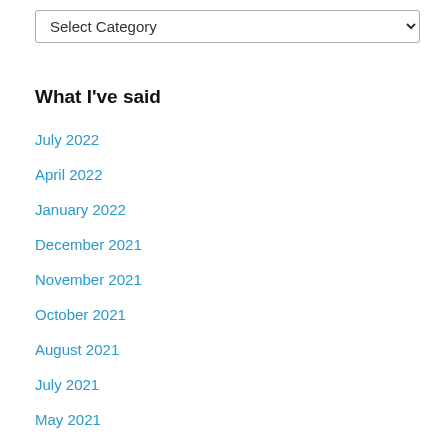[Figure (other): A dropdown select element with the placeholder text 'Select Category' and a down-arrow chevron on the right side.]
What I've said
July 2022
April 2022
January 2022
December 2021
November 2021
October 2021
August 2021
July 2021
May 2021
April 2021